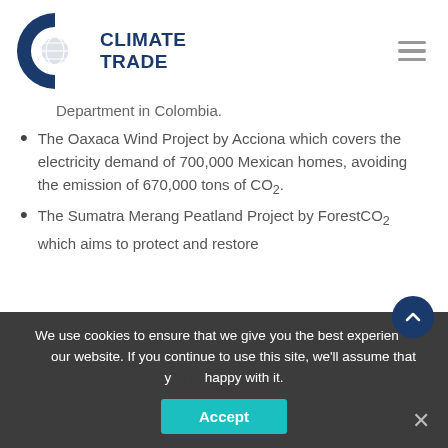[Figure (logo): ClimateTrade logo — dark blue C-shaped icon with globe, text CLIMATE TRADE in dark blue]
Department in Colombia.
The Oaxaca Wind Project by Acciona which covers the electricity demand of 700,000 Mexican homes, avoiding the emission of 670,000 tons of CO2.
The Sumatra Merang Peatland Project by ForestCO2 which aims to protect and restore
We use cookies to ensure that we give you the best experience on our website. If you continue to use this site, we'll assume that you're happy with it.
Accept